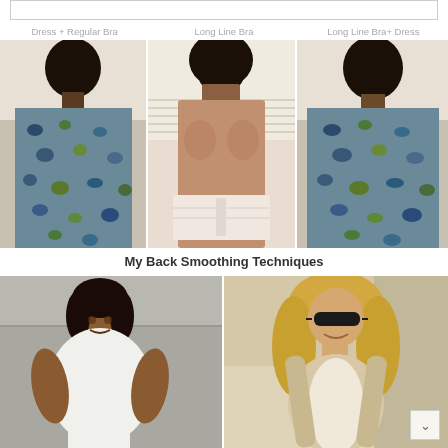[Figure (photo): Three-panel comparison showing back views: left panel 'Dress + Regular Bra' showing woman in patterned blue/green dress from behind, middle panel 'Long Line Bra' showing woman in white longline bra from behind, right panel 'Long Line Bra + Dress' showing woman in same patterned dress with longline bra from behind]
My Back Smoothing Techniques
[Figure (photo): Two photos side by side: left shows a plus-size woman in white crop top and white pants outdoors against a concrete wall, right shows a blonde woman wearing sunglasses smiling, in a beige/cream outfit]